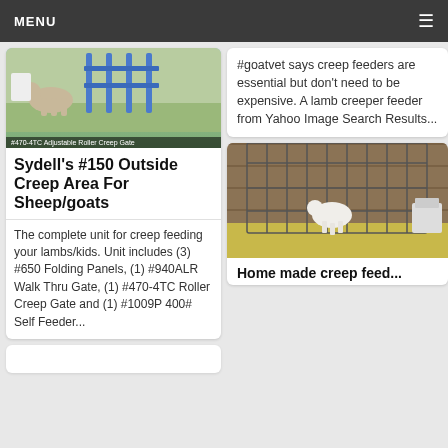MENU
[Figure (photo): Photo of a goat near a blue roller creep gate with caption '#470-4TC Adjustable Roller Creep Gate']
Sydell's #150 Outside Creep Area For Sheep/goats
The complete unit for creep feeding your lambs/kids. Unit includes (3) #650 Folding Panels, (1) #940ALR Walk Thru Gate, (1) #470-4TC Roller Creep Gate and (1) #1009P 400# Self Feeder...
#goatvet says creep feeders are essential but don't need to be expensive. A lamb creeper feeder from Yahoo Image Search Results...
[Figure (photo): Photo of a white goat/lamb inside a metal wire creep feeder pen with straw bedding]
Home made creep feed...